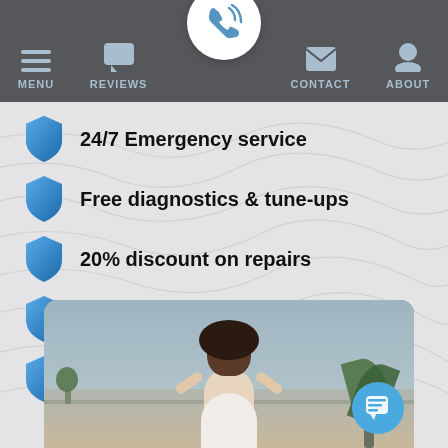MENU | REVIEWS | [phone] | CONTACT | ABOUT
24/7 Emergency service
Free diagnostics & tune-ups
20% discount on repairs
10% Discount on equipment
Priority Scheduling
[Figure (photo): Woman sitting relaxed on couch with eyes closed, plants visible in background, indoor setting]